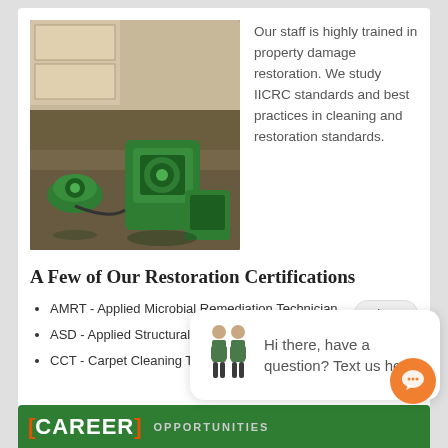[Figure (photo): Photo of a flooded room interior with green water damage restoration equipment (air movers/dehumidifiers) on a wet floor.]
Our staff is highly trained in property damage restoration. We study IICRC standards and best practices in cleaning and restoration standards.
A Few of Our Restoration Certifications
AMRT - Applied Microbial Remediation Technician
ASD - Applied Structural Drying Technician
CCT - Carpet Cleaning Technician
Hi there, have a question? Text us here.
[Figure (illustration): Two SERVPRO technicians in uniform illustration used as chat widget avatar.]
[Figure (photo): CAREER OPPORTUNITIES banner with photo of two SERVPRO employees.]
Accounting Clerk
Administrative Assistant
Crew Chief